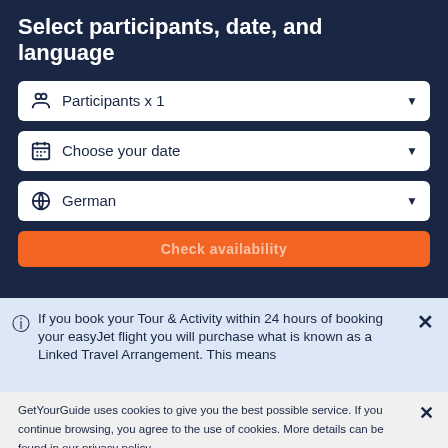Select participants, date, and language
Participants x 1
Choose your date
German
Check availability
If you book your Tour & Activity within 24 hours of booking your easyJet flight you will purchase what is known as a Linked Travel Arrangement. This means
GetYourGuide uses cookies to give you the best possible service. If you continue browsing, you agree to the use of cookies. More details can be found in our privacy policy.